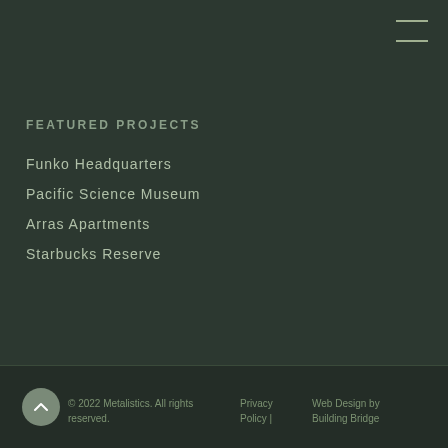[Figure (other): Hamburger menu icon with two horizontal lines in top right corner]
FEATURED PROJECTS
Funko Headquarters
Pacific Science Museum
Arras Apartments
Starbucks Reserve
© 2022 Metalistics. All rights reserved.   Privacy Policy |   Web Design by Building Bridge